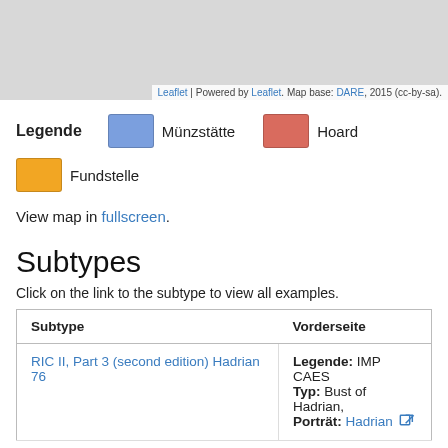[Figure (map): Greyed-out map area (top portion of page, content above viewport)]
Leaflet | Powered by Leaflet. Map base: DARE, 2015 (cc-by-sa).
Legende   □ Münzstätte   □ Hoard   □ Fundstelle
View map in fullscreen.
Subtypes
Click on the link to the subtype to view all examples.
| Subtype | Vorderseite |
| --- | --- |
| RIC II, Part 3 (second edition) Hadrian 76 | Legende: IMP CAES
Typ: Bust of Hadrian,
Porträt: Hadrian |